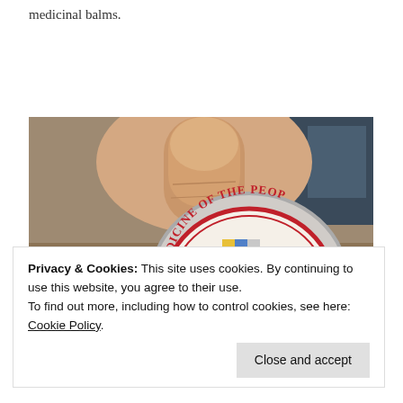medicinal balms.
[Figure (photo): A hand holding a round tin/container with red text reading 'MEDICINE OF THE PEOP...' on its label, with a face visible on the label. Background shows a blurred room setting.]
Privacy & Cookies: This site uses cookies. By continuing to use this website, you agree to their use.
To find out more, including how to control cookies, see here: Cookie Policy
Close and accept